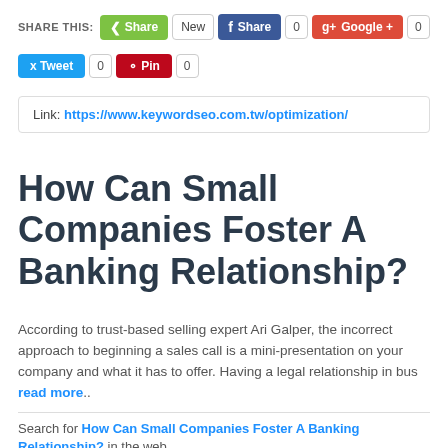SHARE THIS: Share New Share 0 Google+ 0 Tweet 0 Pin 0
Link: https://www.keywordseo.com.tw/optimization/
How Can Small Companies Foster A Banking Relationship?
According to trust-based selling expert Ari Galper, the incorrect approach to beginning a sales call is a mini-presentation on your company and what it has to offer. Having a legal relationship in bus read more..
Search for How Can Small Companies Foster A Banking Relationship? in the web..